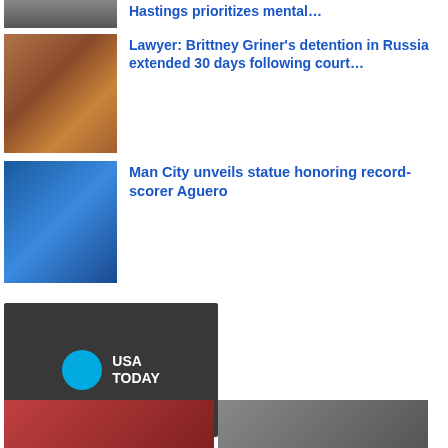[Figure (photo): Partial photo of a person at top, cropped]
Hastings prioritizes mental…
[Figure (photo): Brittney Griner in orange hoodie with dreads, in a court setting]
Lawyer: Brittney Griner's detention in Russia extended 30 days following court…
[Figure (photo): Man City unveiling Sergio Aguero statue outside stadium]
Man City unveils statue honoring record-scorer Aguero
[Figure (logo): USA Today logo on dark background]
China cites pandemic and withdraws as host of 2023 Asian Cup
[Figure (photo): Bottom left partial photo]
[Figure (photo): Bottom right partial photo]